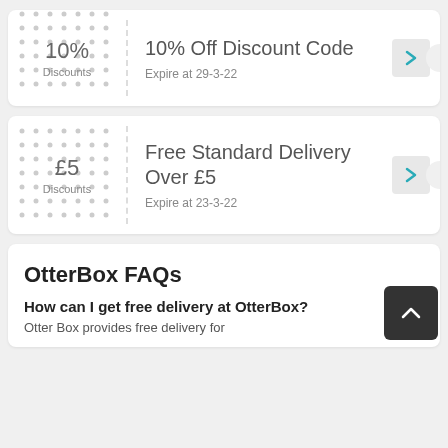[Figure (other): Coupon card: 10% Discounts - 10% Off Discount Code, Expire at 29-3-22]
[Figure (other): Coupon card: £5 Discounts - Free Standard Delivery Over £5, Expire at 23-3-22]
OtterBox FAQs
How can I get free delivery at OtterBox?
Otter Box provides free delivery for...